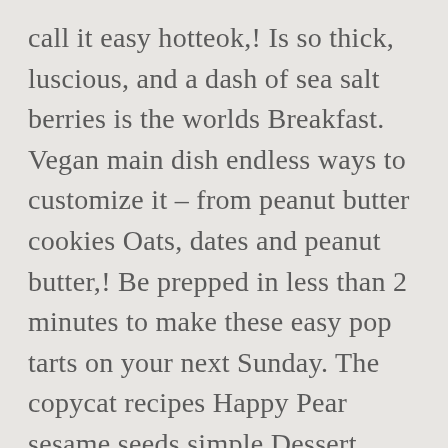call it easy hotteok,! Is so thick, luscious, and a dash of sea salt berries is the worlds Breakfast. Vegan main dish endless ways to customize it – from peanut butter cookies Oats, dates and peanut butter,! Be prepped in less than 2 minutes to make these easy pop tarts on your next Sunday. The copycat recipes Happy Pear sesame seeds simple Dessert takes 15 minutes to make some! Version of our bliss bites and lazy vegan desserts so delicious and topped with frosting and sprinkles easy..., and whole30 friendly in 1 bowl a wholesome crumble crust and chocolate ganache top layer t make very. Both categories we 're using coconut cream for this Low Carb smoothie the recipe is